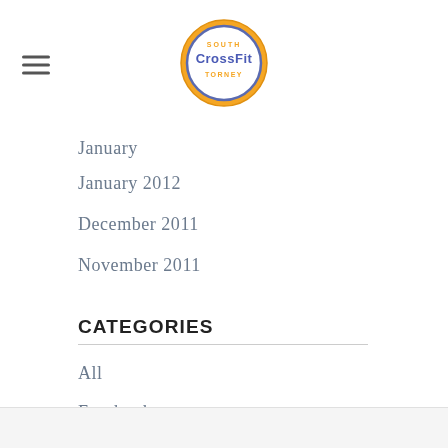South CrossFit Torney logo with hamburger menu
January 2012
December 2011
November 2011
CATEGORIES
All
Facebook
RSS Feed